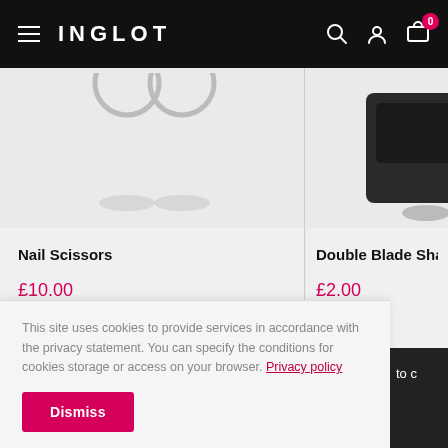INGLOT
[Figure (photo): Nail scissors product image - partial view of scissors handles]
Nail Scissors
£10.00
[Figure (photo): Double Blade Sharpener product image - partial view]
Double Blade Sharpe...
£2.00
This site uses cookies to provide services in accordance with the privacy statement. You can specify the conditions for cookies storage or access on your browser. Privacy policy
Dismiss